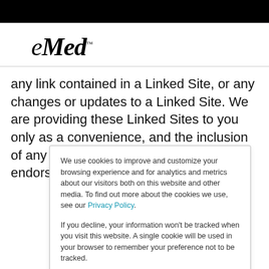[Figure (logo): eMed logo in italic serif font]
any link contained in a Linked Site, or any changes or updates to a Linked Site. We are providing these Linked Sites to you only as a convenience, and the inclusion of any link does not necessarily imply endorsement of
We use cookies to improve and customize your browsing experience and for analytics and metrics about our visitors both on this website and other media. To find out more about the cookies we use, see our Privacy Policy.

If you decline, your information won't be tracked when you visit this website. A single cookie will be used in your browser to remember your preference not to be tracked.
Accept | Decline